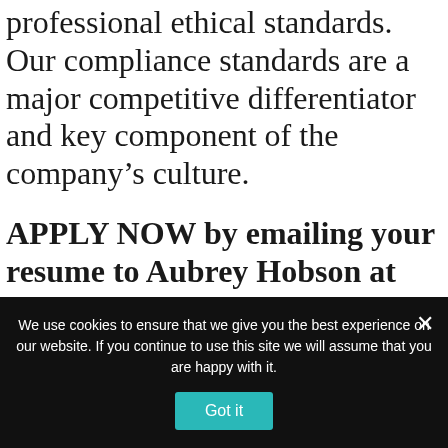professional ethical standards. Our compliance standards are a major competitive differentiator and key component of the company’s culture.
APPLY NOW by emailing your resume to Aubrey Hobson at ahobson@glgroup.com
APPLY NOW by emailing your resume to Aubrey Hobson at ahobson@glgroup.com
We are seeking recent graduates to join GLG as
We use cookies to ensure that we give you the best experience on our website. If you continue to use this site we will assume that you are happy with it.